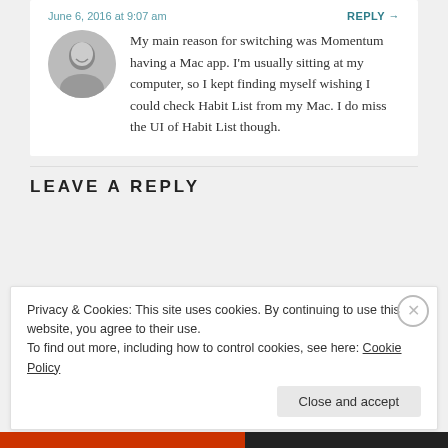June 6, 2016 at 9:07 am
REPLY →
My main reason for switching was Momentum having a Mac app. I'm usually sitting at my computer, so I kept finding myself wishing I could check Habit List from my Mac. I do miss the UI of Habit List though.
LEAVE A REPLY
Privacy & Cookies: This site uses cookies. By continuing to use this website, you agree to their use.
To find out more, including how to control cookies, see here: Cookie Policy
Close and accept